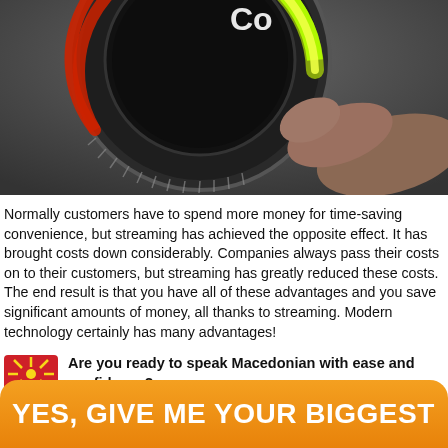[Figure (photo): Close-up of a finger turning a dial/knob with a green-to-red gradient arc and text 'COST' and 'MAX' visible on the dial against a dark background.]
Normally customers have to spend more money for time-saving convenience, but streaming has achieved the opposite effect. It has brought costs down considerably. Companies always pass their costs on to their customers, but streaming has greatly reduced these costs. The end result is that you have all of these advantages and you save significant amounts of money, all thanks to streaming. Modern technology certainly has many advantages!
Are you ready to speak Macedonian with ease and confidence?
YES, GIVE ME YOUR BIGGEST DISCOUNT!